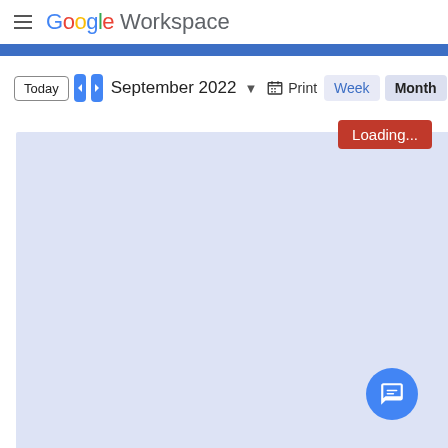Google Workspace
[Figure (screenshot): Google Calendar in Month view for September 2022, showing a loading state with a red Loading... badge and a blue/lavender empty calendar body. Toolbar has Today, back/forward nav, September 2022 dropdown, Print, Week, Month, and Agenda view buttons.]
Loading...